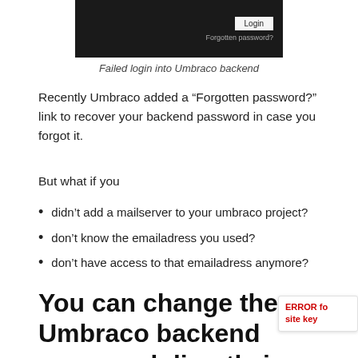[Figure (screenshot): Screenshot of Umbraco backend login page with dark background, showing a Login button and 'Forgotten password?' link]
Failed login into Umbraco backend
Recently Umbraco added a “Forgotten password?” link to recover your backend password in case you forgot it.
But what if you
didn’t add a mailserver to your umbraco project?
don’t know the emailadress you used?
don’t have access to that emailadress anymore?
You can change the Umbraco backend password directly in